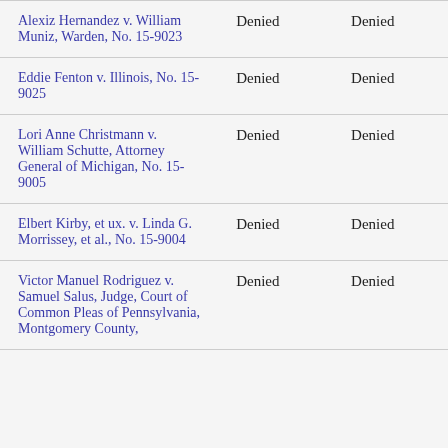| Alexiz Hernandez v. William Muniz, Warden, No. 15-9023 | Denied | Denied |
| Eddie Fenton v. Illinois, No. 15-9025 | Denied | Denied |
| Lori Anne Christmann v. William Schutte, Attorney General of Michigan, No. 15-9005 | Denied | Denied |
| Elbert Kirby, et ux. v. Linda G. Morrissey, et al., No. 15-9004 | Denied | Denied |
| Victor Manuel Rodriguez v. Samuel Salus, Judge, Court of Common Pleas of Pennsylvania, Montgomery County, | Denied | Denied |